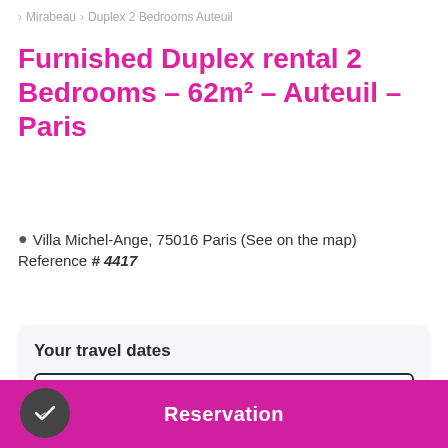> Mirabeau > Duplex 2 Bedrooms Auteuil
Furnished Duplex rental 2 Bedrooms - 62m² - Auteuil - Paris
Villa Michel-Ange, 75016 Paris (See on the map)
Reference # 4417
Your travel dates
Select dates to see estimated price and availabilities.
Check-in date
Reservation